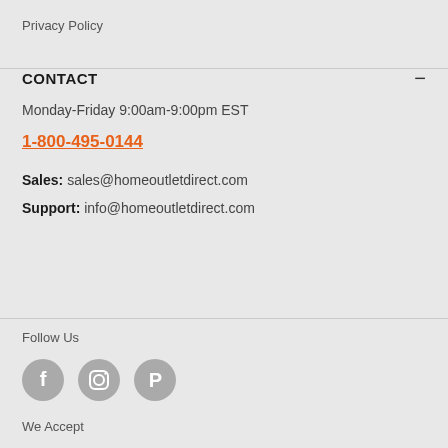Privacy Policy
CONTACT
Monday-Friday 9:00am-9:00pm EST
1-800-495-0144
Sales:  sales@homeoutletdirect.com
Support:  info@homeoutletdirect.com
Follow Us
[Figure (illustration): Three social media icons in grey circles: Facebook (f), Instagram (camera), Pinterest (P)]
We Accept